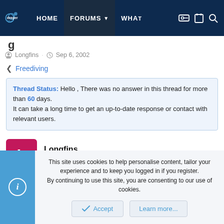deeper blue | HOME | FORUMS | WHAT | (icons)
(partial thread title)
Longfins · Sep 6, 2002
< Freediving
Thread Status: Hello , There was no answer in this thread for more than 60 days. It can take a long time to get an up-to-date response or contact with relevant users.
Longfins
Well-Known Member
This site uses cookies to help personalise content, tailor your experience and to keep you logged in if you register. By continuing to use this site, you are consenting to our use of cookies.